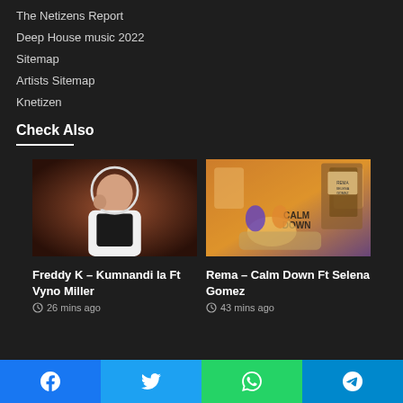The Netizens Report
Deep House music 2022
Sitemap
Artists Sitemap
Knetizen
Check Also
[Figure (photo): Photo of Freddy K, a young man in a white hoodie with black vest, standing against a brown background]
Freddy K – Kumnandi la Ft Vyno Miller
26 mins ago
[Figure (illustration): Illustrated artwork for Rema – Calm Down Ft Selena Gomez, showing animated characters in a train car with warm tones]
Rema – Calm Down Ft Selena Gomez
43 mins ago